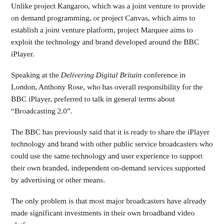Unlike project Kangaroo, which was a joint venture to provide on demand programming, or project Canvas, which aims to establish a joint venture platform, project Marquee aims to exploit the technology and brand developed around the BBC iPlayer.
Speaking at the Delivering Digital Britain conference in London, Anthony Rose, who has overall responsibility for the BBC iPlayer, preferred to talk in general terms about “Broadcasting 2.0”.
The BBC has previously said that it is ready to share the iPlayer technology and brand with other public service broadcasters who could use the same technology and user experience to support their own branded, independent on-demand services supported by advertising or other means.
The only problem is that most major broadcasters have already made significant investments in their own broadband video platforms.
ITV’s leading British...